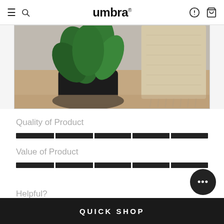umbra
[Figure (photo): Photo of a potted tropical plant (dark pot with large green leaves) next to a blanket or throw with tassels draped on what appears to be a rack or ladder, on a wooden floor.]
Quality of Product
[Figure (infographic): Full dark rating bar for Quality of Product, divided into 5 segments by thin white lines, fully filled.]
Value of Product
[Figure (infographic): Full dark rating bar for Value of Product, divided into 5 segments by thin white lines, fully filled.]
Helpful?
QUICK SHOP